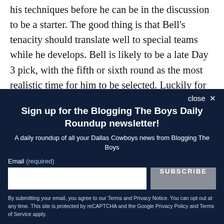his techniques before he can be in the discussion to be a starter. The good thing is that Bell's tenacity should translate well to special teams while he develops. Bell is likely to be a late Day 3 pick, with the fifth or sixth round as the most realistic time for him to be selected. Luckily for Dallas, they have five picks between those
close ✕
Sign up for the Blogging The Boys Daily Roundup newsletter!
A daily roundup of all your Dallas Cowboys news from Blogging The Boys
Email (required)
SUBSCRIBE
By submitting your email, you agree to our Terms and Privacy Notice. You can opt out at any time. This site is protected by reCAPTCHA and the Google Privacy Policy and Terms of Service apply.